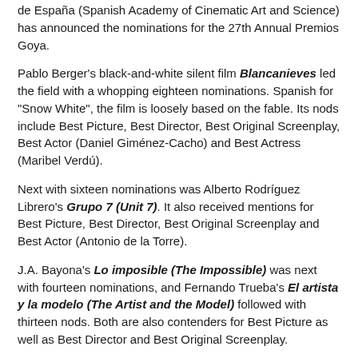de España (Spanish Academy of Cinematic Art and Science) has announced the nominations for the 27th Annual Premios Goya.
Pablo Berger's black-and-white silent film Blancanieves led the field with a whopping eighteen nominations. Spanish for "Snow White", the film is loosely based on the fable. Its nods include Best Picture, Best Director, Best Original Screenplay, Best Actor (Daniel Giménez-Cacho) and Best Actress (Maribel Verdú).
Next with sixteen nominations was Alberto Rodríguez Librero's Grupo 7 (Unit 7). It also received mentions for Best Picture, Best Director, Best Original Screenplay and Best Actor (Antonio de la Torre).
J.A. Bayona's Lo imposible (The Impossible) was next with fourteen nominations, and Fernando Trueba's El artista y la modelo (The Artist and the Model) followed with thirteen nods. Both are also contenders for Best Picture as well as Best Director and Best Original Screenplay.